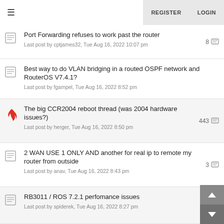≡  REGISTER  LOGIN
Port Forwarding refuses to work past the router
Last post by cptjames32, Tue Aug 16, 2022 10:07 pm  8
Best way to do VLAN bridging in a routed OSPF network and RouterOS V7.4.1?
Last post by fgampel, Tue Aug 16, 2022 8:52 pm
The big CCR2004 reboot thread (was 2004 hardware issues?)
Last post by herger, Tue Aug 16, 2022 8:50 pm  443
2 WAN USE 1 ONLY AND another for real ip to remote my router from outside
Last post by anav, Tue Aug 16, 2022 8:43 pm  3
RB3011 / ROS 7.2.1 perfomance issues
Last post by spiderek, Tue Aug 16, 2022 8:27 pm  19